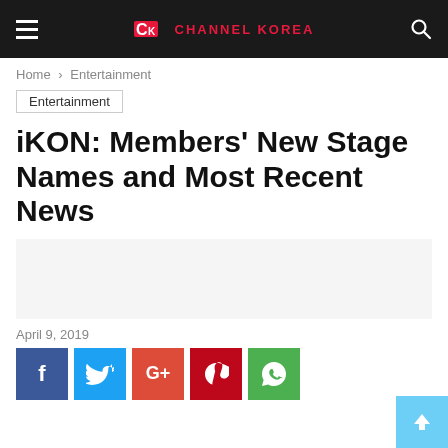Channel Korea
Home › Entertainment
Entertainment
iKON: Members' New Stage Names and Most Recent News
April 9, 2019
[Figure (other): Social sharing buttons: Facebook, Twitter, Google+, Pinterest, WhatsApp]